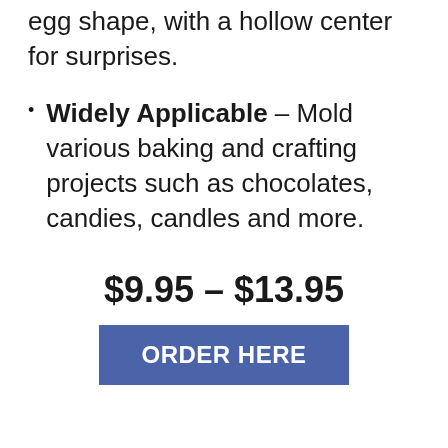egg shape, with a hollow center for surprises.
Widely Applicable – Mold various baking and crafting projects such as chocolates, candies, candles and more.
$9.95 – $13.95
ORDER HERE